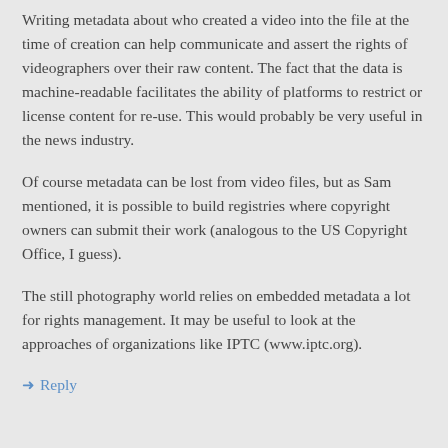Writing metadata about who created a video into the file at the time of creation can help communicate and assert the rights of videographers over their raw content. The fact that the data is machine-readable facilitates the ability of platforms to restrict or license content for re-use. This would probably be very useful in the news industry.
Of course metadata can be lost from video files, but as Sam mentioned, it is possible to build registries where copyright owners can submit their work (analogous to the US Copyright Office, I guess).
The still photography world relies on embedded metadata a lot for rights management. It may be useful to look at the approaches of organizations like IPTC (www.iptc.org).
Reply